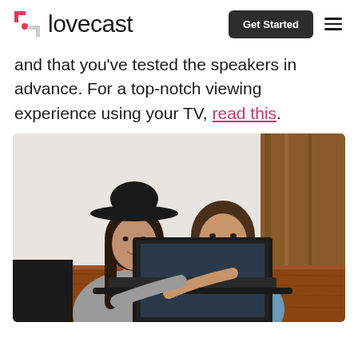lovecast | Get Started
and that you’ve tested the speakers in advance. For a top-notch viewing experience using your TV, read this.
[Figure (photo): Two young women sitting at a wooden table looking at a laptop together, with a coffee cup nearby. The woman on the left wears a wide-brim black hat and grey sweater; the woman on the right has long brown hair and a blue shirt.]